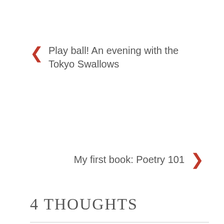← Play ball! An evening with the Tokyo Swallows
My first book: Poetry 101 →
4 THOUGHTS
anamericanadventuresinjapan
June 24, 2017 at 9:41 pm